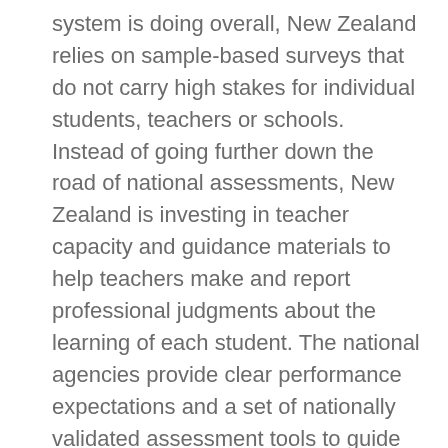system is doing overall, New Zealand relies on sample-based surveys that do not carry high stakes for individual students, teachers or schools. Instead of going further down the road of national assessments, New Zealand is investing in teacher capacity and guidance materials to help teachers make and report professional judgments about the learning of each student. The national agencies provide clear performance expectations and a set of nationally validated assessment tools to guide assessment practice. Teacher professionalism is also supported by well-established approaches to teacher appraisal and school self review. Both promote evidence-based inquiry and the use of assessment results by schools for accountability and improvement.